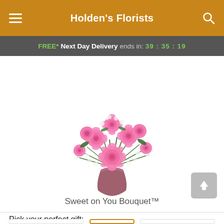Holden's Florists
FREE* Next Day Delivery ends in: 39:35:19
[Figure (photo): Pink roses bouquet arrangement with white flowers in a mauve/pink vase, product photo on white background for 'Sweet on You Bouquet']
Sweet on You Bouquet™
Pick your perfect gift: